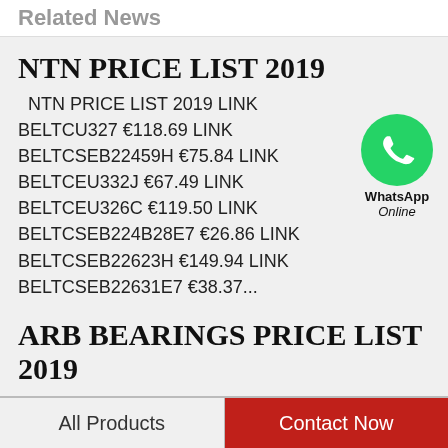Related News
NTN PRICE LIST 2019
NTN PRICE LIST 2019 LINK BELTCU327 €118.69 LINK BELTCSEB22459H €75.84 LINK BELTCEU332J €67.49 LINK BELTCEU326C €119.50 LINK BELTCSEB224B28E7 €26.86 LINK BELTCSEB22623H €149.94 LINK BELTCSEB22631E7 €38.37...
[Figure (logo): WhatsApp green circle icon with phone handset, labeled WhatsApp Online]
ARB BEARINGS PRICE LIST 2019
ARB BEARINGS PRICE LIST 2019 FYHUCC21134 $8.20 FYHUCC20926 $89.70 FYHUCC20928 $82.52 FYHUCC21031 $6.35 FYHUCC20721 $94.97 FYHUCC20722 $173.38 FYHUCC20412 $28.92 FYHUCC20620 $182.22 FYHUCC2018...
All Products | Contact Now